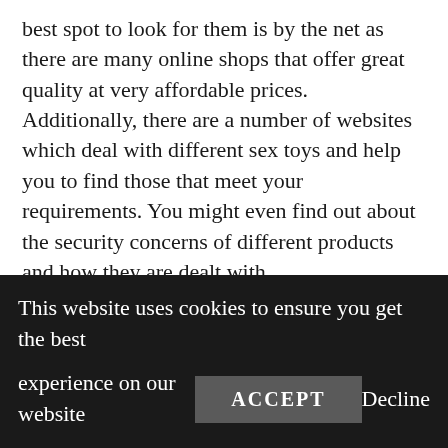best spot to look for them is by the net as there are many online shops that offer great quality at very affordable prices. Additionally, there are a number of websites which deal with different sex toys and help you to find those that meet your requirements. You might even find out about the security concerns of different products and how they are dealt with.

Among the best sex toys to purchase is a dildo. A dildo is a penis-shaped sex toy that comes in various shapes and sizes. A good deal of men prefer purchasing sex toys of various shapes and
This website uses cookies to ensure you get the best experience on our website
ACCEPT
Decline